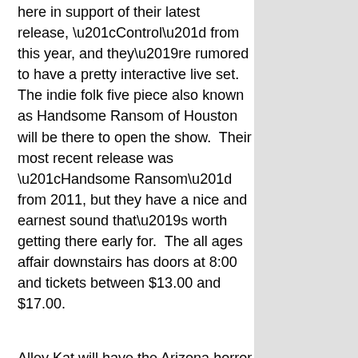here in support of their latest release, “Control” from this year, and they’re rumored to have a pretty interactive live set.  The indie folk five piece also known as Handsome Ransom of Houston will be there to open the show.  Their most recent release was “Handsome Ransom” from 2011, but they have a nice and earnest sound that’s worth getting there early for.  The all ages affair downstairs has doors at 8:00 and tickets between $13.00 and $17.00.
Alley Kat will have the Arizona horror rock brothers, Calabrese in town.  The three piece made up of actual brothers has been around since 2002, and they’ve dropped a steady stream of releases since their formation.  Most of their records have